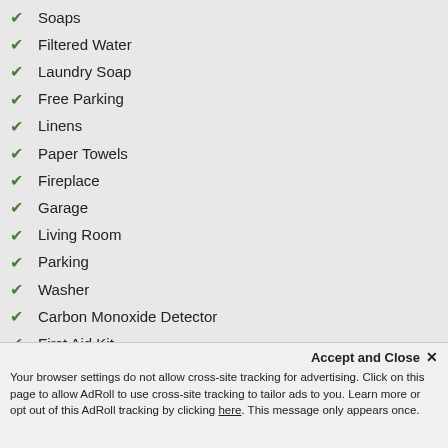Soaps
Filtered Water
Laundry Soap
Free Parking
Linens
Paper Towels
Fireplace
Garage
Living Room
Parking
Washer
Carbon Monoxide Detector
First Aid Kit
Laptop Friendly
Safety Card
Essentials
Hangers
Smoke Detector
Fire Extinguisher
Internet
Air conditioning
Accept and Close ✕
Your browser settings do not allow cross-site tracking for advertising. Click on this page to allow AdRoll to use cross-site tracking to tailor ads to you. Learn more or opt out of this AdRoll tracking by clicking here. This message only appears once.